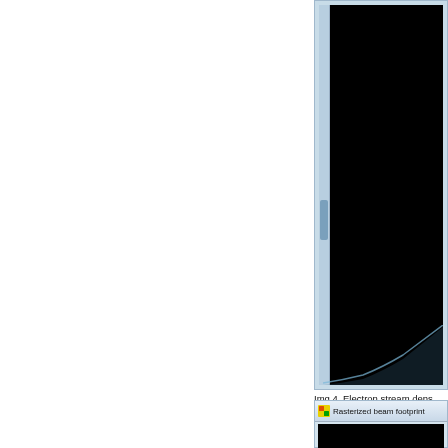[Figure (screenshot): Screenshot of a scientific visualization window showing electron stream density. The window has a blue-gray border with a black interior panel and a scroll indicator on the left side. At the bottom right of the black area, a faint light-blue curve is visible rising from the lower-left towards the upper-right, representing the electron stream density distribution. The image is partially cropped, showing only the right portion of the window.]
Img.4. Electron stream dens. The corresponding crossec. exposure (see img.5). The b of electron stream in the co
[Figure (screenshot): Screenshot of a window titled 'Rasterized beam footprint' showing a black interior panel, partially cropped at the bottom of the page.]